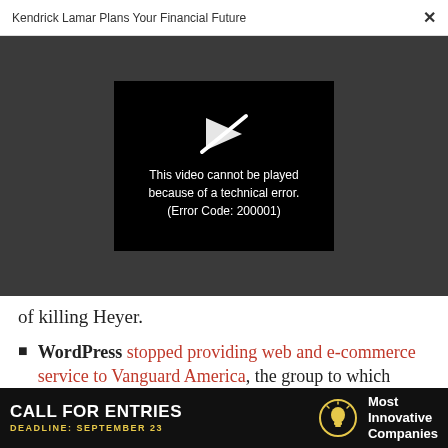Kendrick Lamar Plans Your Financial Future  ×
[Figure (screenshot): Video player showing error message: 'This video cannot be played because of a technical error. (Error Code: 200001)' on a black background with a broken play icon, embedded in a dark gray overlay area.]
of killing Heyer.
WordPress stopped providing web and e-commerce service to Vanguard America, the group to which Fields pledged allegiance.
[Figure (infographic): Advertisement banner: CALL FOR ENTRIES — DEADLINE: SEPTEMBER 23 — Most Innovative Companies, with a lightbulb icon, on a black background.]